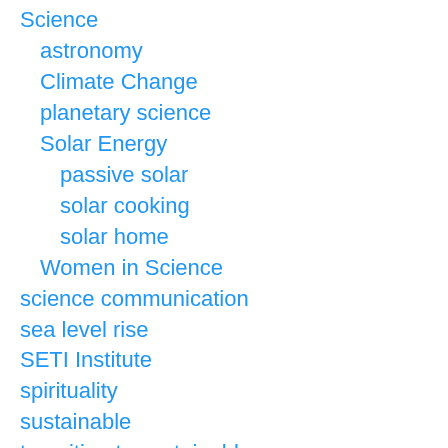Science
astronomy
Climate Change
planetary science
Solar Energy
passive solar
solar cooking
solar home
Women in Science
science communication
sea level rise
SETI Institute
spirituality
sustainable
transition to sustainable energy
transportation
solar electric vehicles
UCSC
voting security